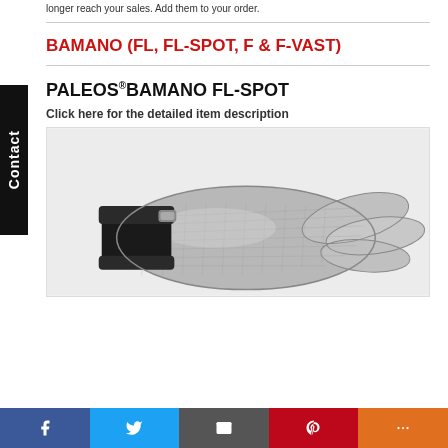longer reach your sales. Add them to your order.
BAMANO (FL, FL-SPOT, F & F-VAST)
PALEOS® BAMANO FL-SPOT
Click here for the detailed item description
[Figure (photo): A metal mesh cut-resistant glove (PALEOS BAMANO FL-SPOT) lying on a white surface, showing silver chainmail mesh body with black fabric wrist cuff and a metal clasp.]
Social sharing bar: Facebook, Twitter, Email, Pinterest, More